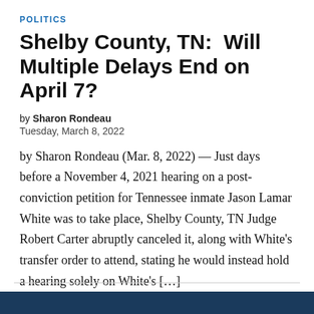POLITICS
Shelby County, TN:  Will Multiple Delays End on April 7?
by Sharon Rondeau
Tuesday, March 8, 2022
by Sharon Rondeau (Mar. 8, 2022) — Just days before a November 4, 2021 hearing on a post-conviction petition for Tennessee inmate Jason Lamar White was to take place, Shelby County, TN Judge Robert Carter abruptly canceled it, along with White's transfer order to attend, stating he would instead hold a hearing solely on White's […]